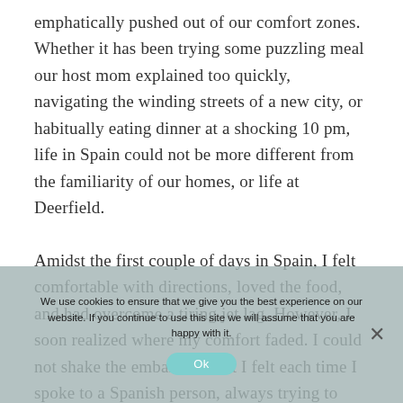emphatically pushed out of our comfort zones. Whether it has been trying some puzzling meal our host mom explained too quickly, navigating the winding streets of a new city, or habitually eating dinner at a shocking 10 pm, life in Spain could not be more different from the familiarity of our homes, or life at Deerfield.

Amidst the first couple of days in Spain, I felt comfortable with directions, loved the food, and had overcome a tiring jet lag. However, I soon realized where my comfort faded. I could not shake the embarrassment I felt each time I spoke to a Spanish person, always trying to conceal my thick American accent and finishing
We use cookies to ensure that we give you the best experience on our website. If you continue to use this site we will assume that you are happy with it.